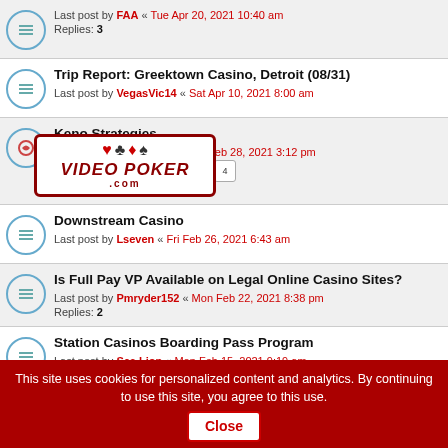Last post by FAA « Tue Apr 20, 2021 10:40 am
Replies: 3
Trip Report: Greektown Casino, Detroit (08/31)
Last post by VegasVic14 « Sat Apr 10, 2021 8:00 am
[Figure (logo): Video Poker .com logo with card suit symbols (heart, club, diamond, spade)]
Keno Strategies
Last post by pkeno2021 « Sun Feb 28, 2021 3:12 pm
Replies: 33
Downstream Casino
Last post by Lseven « Fri Feb 26, 2021 6:43 am
Is Full Pay VP Available on Legal Online Casino Sites?
Last post by Pmryder152 « Mon Feb 22, 2021 8:38 pm
Replies: 2
Station Casinos Boarding Pass Program
Last post by Sea Lion « Mon Feb 15, 2021 9:19 am
Replies: 5
[Figure (screenshot): Nike advertisement: Nike. Just Do It. Inspiring the world's athletes, Nike delivers the deals]
This site uses cookies for personalized content and analytics. By continuing to use this site, you agree to this use. Close